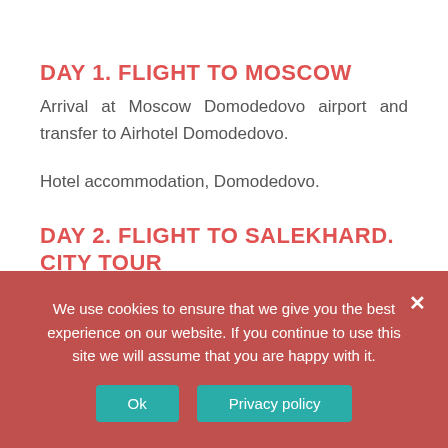DAY 1. FLIGHT TO MOSCOW
Arrival at Moscow Domodedovo airport and transfer to Airhotel Domodedovo.
Hotel accommodation, Domodedovo.
DAY 2. FLIGHT TO SALEKHARD. CITY TOUR
In the morning transfer to Domodedovo airport. We will take a flight to Salekhard (3:15 pm). Arrival at 8:00 a.m. and transfer to the hotel. Salekhard, a population of 42,500, is located on the banks of the Ob River, one of the longest in the world. The city
We use cookies to ensure that we give you the best experience on our website. If you continue to use this site we will assume that you are happy with it.